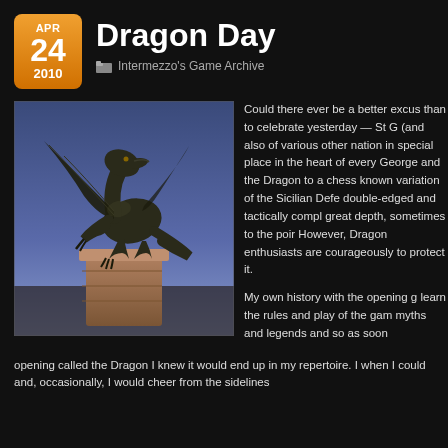Dragon Day
Apr 24 2010
Intermezzo's Game Archive
[Figure (photo): Bronze dragon statue on a pedestal against a blue dusk sky, wings spread, mouth open, standing on hind legs]
Could there ever be a better excus than to celebrate yesterday — St G (and also of various other nation in special place in the heart of every George and the Dragon to a chess known variation of the Sicilian Defe double-edged and tactically compl great depth, sometimes to the poir However, Dragon enthusiasts are courageously to protect it.
My own history with the opening g learn the rules and play of the gam myths and legends and so as soon opening called the Dragon I knew it would end up in my repertoire. I when I could and, occasionally, I would cheer from the sidelines